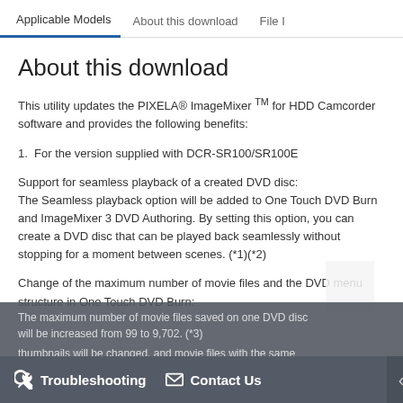Applicable Models | About this download | File I
About this download
This utility updates the PIXELA® ImageMixer ™ for HDD Camcorder software and provides the following benefits:
1.  For the version supplied with DCR-SR100/SR100E
Support for seamless playback of a created DVD disc: The Seamless playback option will be added to One Touch DVD Burn and ImageMixer 3 DVD Authoring. By setting this option, you can create a DVD disc that can be played back seamlessly without stopping for a moment between scenes. (*1)(*2)
Change of the maximum number of movie files and the DVD menu structure in One Touch DVD Burn:
The maximum number of movie files saved on one DVD disc will be increased from 99 to 9,702. (*3)
thumbnails will be changed, and movie files with the same
Troubleshooting   Contact Us